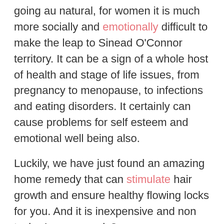going au natural, for women it is much more socially and emotionally difficult to make the leap to Sinead O'Connor territory. It can be a sign of a whole host of health and stage of life issues, from pregnancy to menopause, to infections and eating disorders. It certainly can cause problems for self esteem and emotional well being also.
Luckily, we have just found an amazing home remedy that can stimulate hair growth and ensure healthy flowing locks for you. And it is inexpensive and non toxic. Are you ready?
First, you will need to find an inexpensive shampoo with neutral pH. Baby shampoos are usually a good choice. This will act as the base for your remedy.
You will also need lemon essential oil, rosemary essential oil, and 2 capsules of vitamin E. The lemon oil has strong